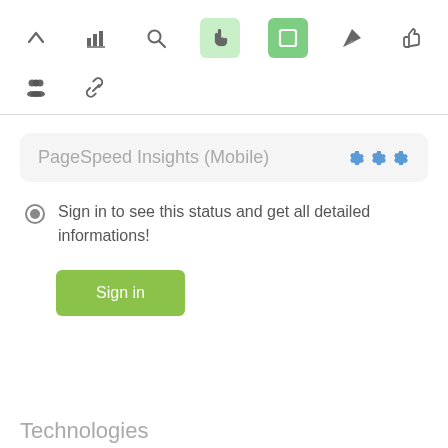[Figure (screenshot): Toolbar row 1 with navigation icons: up arrow, bar chart, search, hand/pointer (active light green), square (active dark green), rocket/send, thumbs up]
[Figure (screenshot): Toolbar row 2 with icons: group of people, chain/link]
PageSpeed Insights (Mobile)
Sign in to see this status and get all detailed informations!
Sign in
Technologies